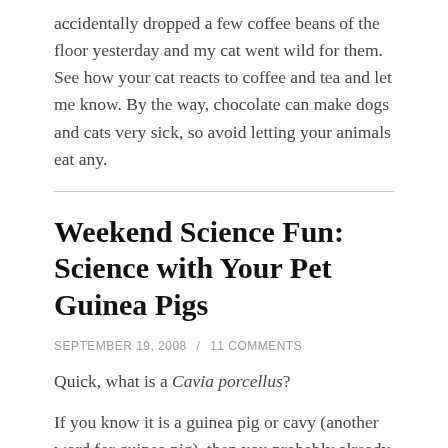accidentally dropped a few coffee beans of the floor yesterday and my cat went wild for them. See how your cat reacts to coffee and tea and let me know. By the way, chocolate can make dogs and cats very sick, so avoid letting your animals eat any.
Weekend Science Fun: Science with Your Pet Guinea Pigs
SEPTEMBER 19, 2008 / 11 COMMENTS
Quick, what is a Cavia porcellus?
If you know it is a guinea pig or cavy (another word for guinea pig), then you probably already have one of these sweet little creatures. Today we are going to look at a few science activities you can do to learn more about